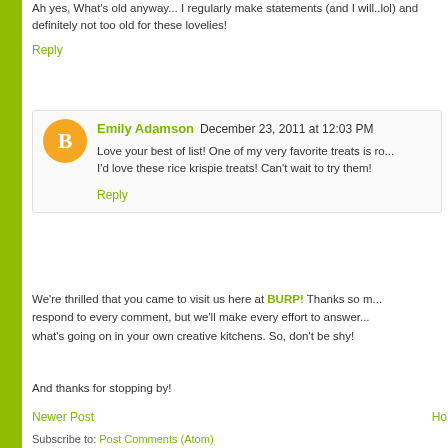Ah yes, What's old anyway... I regularly make statements (and I will..lol) and definitely not too old for these lovelies!
Reply
Emily Adamson December 23, 2011 at 12:03 PM
Love your best of list! One of my very favorite treats is ro... I'd love these rice krispie treats! Can't wait to try them!
Reply
We're thrilled that you came to visit us here at BURP! Thanks so m... respond to every comment, but we'll make every effort to answer... what's going on in your own creative kitchens. So, don't be shy!
And thanks for stopping by!
Newer Post
Ho
Subscribe to: Post Comments (Atom)